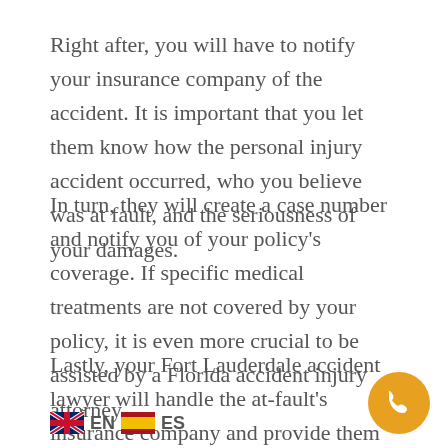Right after, you will have to notify your insurance company of the accident. It is important that you let them know how the personal injury accident occurred, who you believe was at fault, and the seriousness of your damages.
In turn, they will create a case number and notify you of your policy's coverage. If specific medical treatments are not covered by your policy, it is even more crucial to be assisted by a Florida accident injury attorney.
Lastly, your Fort Lauderdale accident lawyer will handle the at-fault's insurance company and provide them with an official complaint. In this process, if the insurance